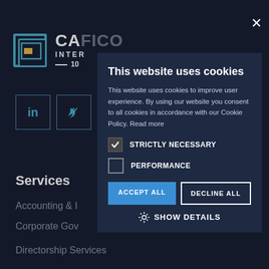[Figure (logo): CAFICO International logo with icon and text, LinkedIn and Twitter social icons below]
Services
Accounting & I
Corporate Gov
Directorship Services
This website uses cookies
This website uses cookies to improve user experience. By using our website you consent to all cookies in accordance with our Cookie Policy. Read more
STRICTLY NECESSARY
PERFORMANCE
ACCEPT ALL
DECLINE ALL
SHOW DETAILS